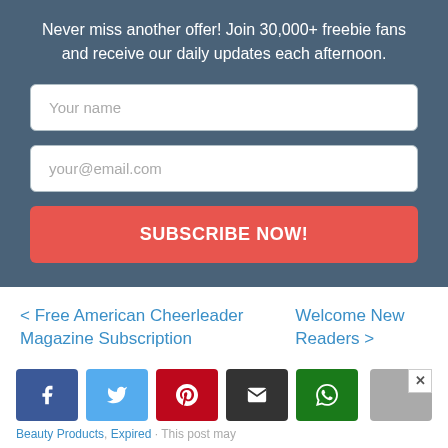Never miss another offer! Join 30,000+ freebie fans and receive our daily updates each afternoon.
Your name
your@email.com
SUBSCRIBE NOW!
< Free American Cheerleader Magazine Subscription
Welcome New Readers >
[Figure (screenshot): Social share buttons: Facebook, Twitter, Pinterest, Email, WhatsApp, and a gray button with close X]
Beauty Products, Expired · This post may